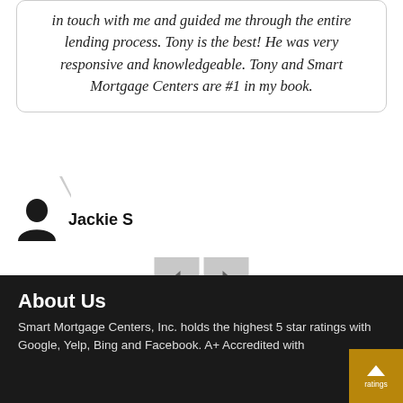in touch with me and guided me through the entire lending process. Tony is the best! He was very responsive and knowledgeable. Tony and Smart Mortgage Centers are #1 in my book.
Jackie S
[Figure (other): Navigation arrows (previous/next) and two pagination dots (one filled blue, one empty)]
About Us
Smart Mortgage Centers, Inc. holds the highest 5 star ratings with Google, Yelp, Bing and Facebook. A+ Accredited with